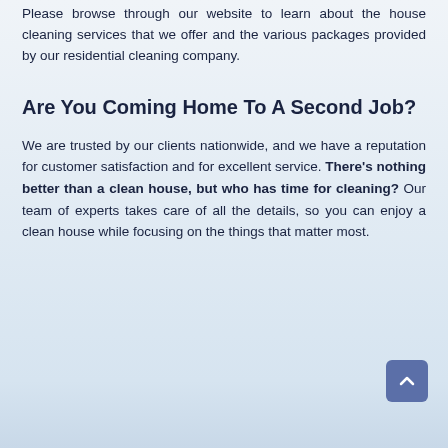Please browse through our website to learn about the house cleaning services that we offer and the various packages provided by our residential cleaning company.
Are You Coming Home To A Second Job?
We are trusted by our clients nationwide, and we have a reputation for customer satisfaction and for excellent service. There's nothing better than a clean house, but who has time for cleaning? Our team of experts takes care of all the details, so you can enjoy a clean house while focusing on the things that matter most.